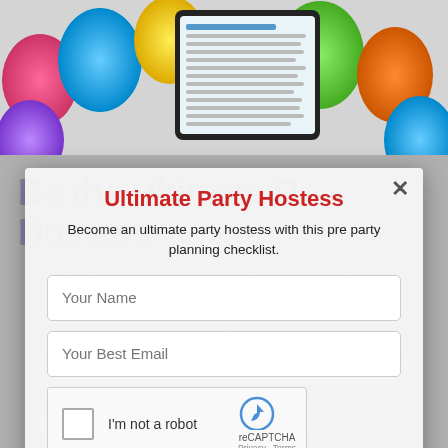[Figure (photo): Colorful party balloons with a tablet showing a checklist document, in the background.]
Ultimate Party Hostess
Become an ultimate party hostess with this pre party planning checklist.
Your Name
Your Best Email
[Figure (other): reCAPTCHA widget with checkbox labeled I'm not a robot]
MAKE ME AN ULTIMATE HOSTESS!